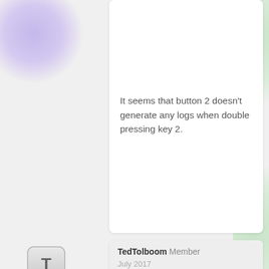It seems that button 2 doesn't generate any logs when double pressing key 2.
TedTolboom Member
July 2017
@Jwoudenberg the log does not show any double clicks, only single clicks "00" for button 01, 02, 03...

Are you sure that the parameters set are corresponding to the settings required for double press and central scene in the manual? Can you show them?